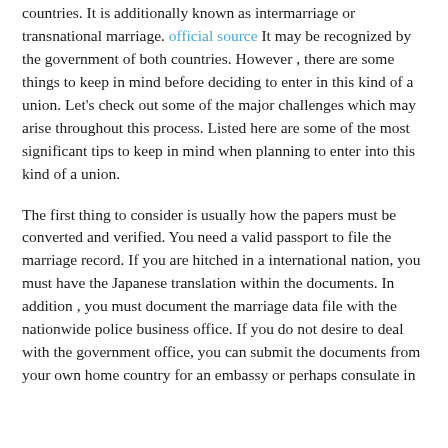countries. It is additionally known as intermarriage or transnational marriage. official source It may be recognized by the government of both countries. However , there are some things to keep in mind before deciding to enter in this kind of a union. Let's check out some of the major challenges which may arise throughout this process. Listed here are some of the most significant tips to keep in mind when planning to enter into this kind of a union.

The first thing to consider is usually how the papers must be converted and verified. You need a valid passport to file the marriage record. If you are hitched in a international nation, you must have the Japanese translation within the documents. In addition , you must document the marriage data file with the nationwide police business office. If you do not desire to deal with the government office, you can submit the documents from your own home country for an embassy or perhaps consulate in